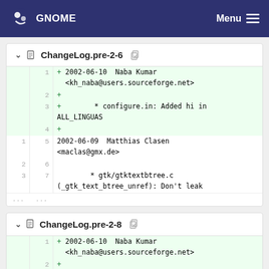GNOME   Menu
ChangeLog.pre-2-6
[Figure (screenshot): Code diff view for ChangeLog.pre-2-6 showing added lines: 1: + 2002-06-10 Naba Kumar <kh_naba@users.sourceforge.net>, 2: +, 3: + * configure.in: Added hi in ALL_LINGUAS, 4: +, and context lines 5-7: 2002-06-09 Matthias Clasen <maclas@gmx.de>, blank, * gtk/gtktextbtree.c (_gtk_text_btree_unref): Don't leak]
ChangeLog.pre-2-8
[Figure (screenshot): Code diff view for ChangeLog.pre-2-8 showing added line 1: + 2002-06-10 Naba Kumar <kh_naba@users.sourceforge.net>]